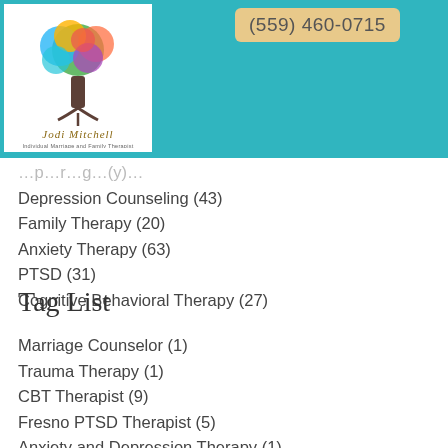[Figure (logo): Jodi Mitchell Individual Marriage and Family Therapist logo with colorful tree illustration]
(559) 460-0715
Depression Counseling (43)
Family Therapy (20)
Anxiety Therapy (63)
PTSD (31)
Cognitive Behavioral Therapy (27)
Tag List
Marriage Counselor (1)
Trauma Therapy (1)
CBT Therapist (9)
Fresno PTSD Therapist (5)
Anxiety and Depression Therapy (1)
Self-care (1)
Poetry (1)
Postpartum Depression Relief (1)
Relationship Anxiety (1)